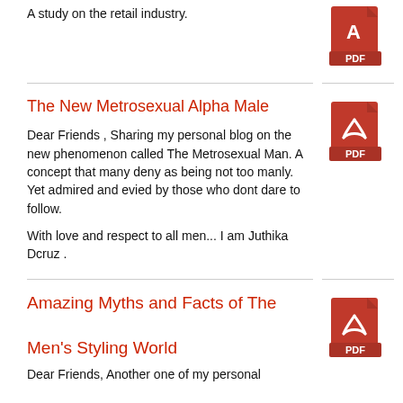A study on the retail industry.
[Figure (other): PDF file icon (red Acrobat-style icon with PDF label)]
The New Metrosexual Alpha Male
[Figure (other): PDF file icon (red Acrobat-style icon with PDF label)]
Dear Friends , Sharing my personal blog on the new phenomenon called The Metrosexual Man. A concept that many deny as being not too manly. Yet admired and evied by those who dont dare to follow.
With love and respect to all men... I am Juthika Dcruz  .
Amazing Myths and Facts of The Men's Styling World
[Figure (other): PDF file icon (red Acrobat-style icon with PDF label)]
Dear Friends, Another one of my personal